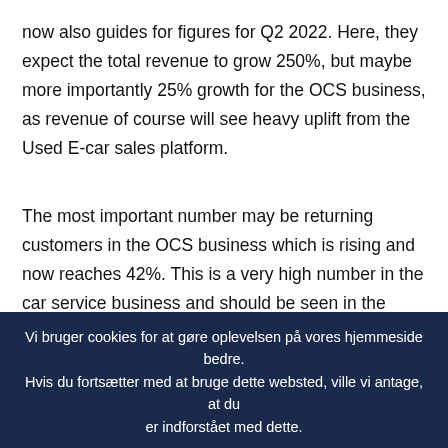now also guides for figures for Q2 2022. Here, they expect the total revenue to grow 250%, but maybe more importantly 25% growth for the OCS business, as revenue of course will see heavy uplift from the Used E-car sales platform.
The most important number may be returning customers in the OCS business which is rising and now reaches 42%. This is a very high number in the car service business and should be seen in the context of many customers coming on board, and a normal long lead time between services of a car. This is the one parameter, which shows that traction is upwards and supports a long-term profitable business, as it will
Vi bruger cookies for at gøre oplevelsen på vores hjemmeside bedre. Hvis du fortsætter med at bruge dette websted, ville vi antage, at du er indforstået med dette.